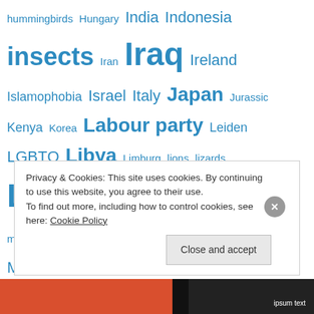hummingbirds Hungary India Indonesia insects Iran Iraq Ireland Islamophobia Israel Italy Japan Jurassic Kenya Korea Labour party Leiden LGBTQ Libya Limburg lions lizards London Madagascar marsupials mercenaries Mexico mining Minnesota Miocene Missouri monkeys Morocco moths NATO nazis Netherlands New York New York City New Zealand Nigeria North America Norway nuclear nuclear weapons Occupy Wall Street oil Olympics Oostvaardersplassen Overijssel
Privacy & Cookies: This site uses cookies. By continuing to use this website, you agree to their use. To find out more, including how to control cookies, see here: Cookie Policy
Close and accept